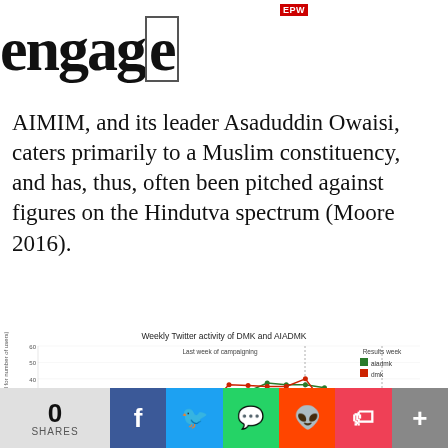EPW engage
AIMIM, and its leader Asaduddin Owaisi, caters primarily to a Muslim constituency, and has, thus, often been pitched against figures on the Hindutva spectrum (Moore 2016).
[Figure (line-chart): Weekly Twitter activity of DMK and AIADMK]